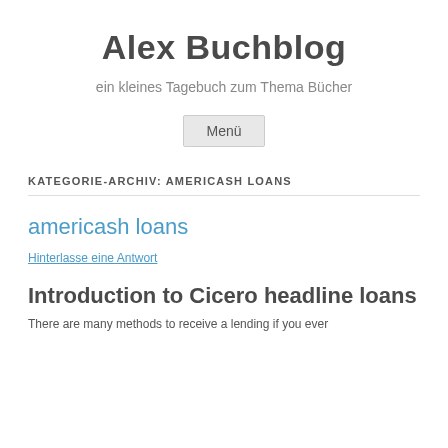Alex Buchblog
ein kleines Tagebuch zum Thema Bücher
Menü
KATEGORIE-ARCHIV: AMERICASH LOANS
americash loans
Hinterlasse eine Antwort
Introduction to Cicero headline loans
There are many methods to receive a lending if you ever